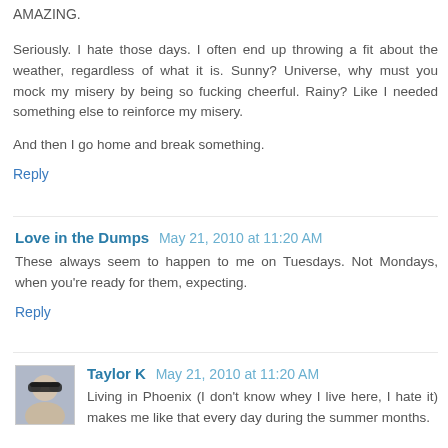AMAZING.
Seriously. I hate those days. I often end up throwing a fit about the weather, regardless of what it is. Sunny? Universe, why must you mock my misery by being so fucking cheerful. Rainy? Like I needed something else to reinforce my misery.
And then I go home and break something.
Reply
Love in the Dumps  May 21, 2010 at 11:20 AM
These always seem to happen to me on Tuesdays. Not Mondays, when you're ready for them, expecting.
Reply
[Figure (photo): Avatar photo of Taylor K, a woman with blonde hair and sunglasses]
Taylor K  May 21, 2010 at 11:20 AM
Living in Phoenix (I don't know whey I live here, I hate it) makes me like that every day during the summer months.